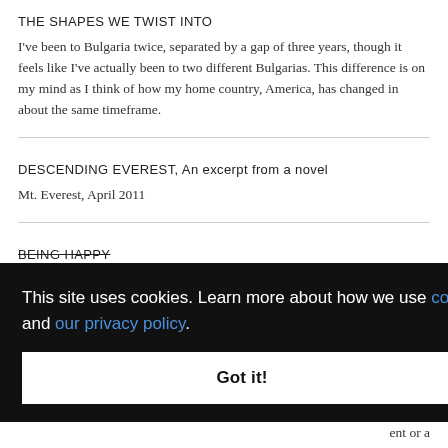THE SHAPES WE TWIST INTO
I've been to Bulgaria twice, separated by a gap of three years, though it feels like I've actually been to two different Bulgarias. This difference is on my mind as I think of how my home country, America, has changed in about the same timeframe.
DESCENDING EVEREST, An excerpt from a novel
Mt. Everest, April 2011
BEING HAPPY
…iful this … put on
…ent or a …
This site uses cookies. Learn more about how we use cookies and our privacy policy.
Got it!